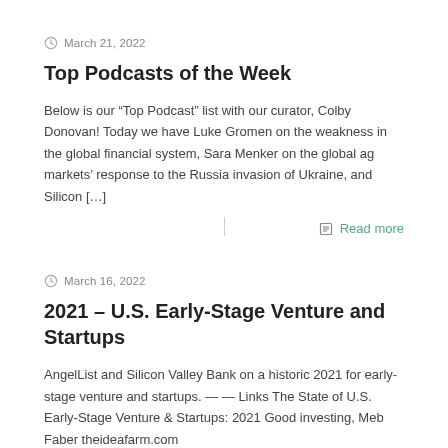March 21, 2022
Top Podcasts of the Week
Below is our “Top Podcast” list with our curator, Colby Donovan! Today we have Luke Gromen on the weakness in the global financial system, Sara Menker on the global ag markets’ response to the Russia invasion of Ukraine, and Silicon […]
Read more
March 16, 2022
2021 – U.S. Early-Stage Venture and Startups
AngelList and Silicon Valley Bank on a historic 2021 for early-stage venture and startups. — — Links The State of U.S. Early-Stage Venture & Startups: 2021 Good investing, Meb Faber theideafarm.com